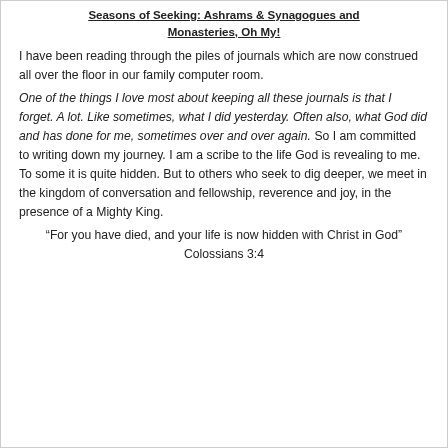Seasons of Seeking: Ashrams & Synagogues and Monasteries, Oh My!
I have been reading through the piles of journals which are now construed all over the floor in our family computer room.
One of the things I love most about keeping all these journals is that I forget. A lot. Like sometimes, what I did yesterday. Often also, what God did and has done for me, sometimes over and over again. So I am committed to writing down my journey. I am a scribe to the life God is revealing to me. To some it is quite hidden. But to others who seek to dig deeper, we meet in the kingdom of conversation and fellowship, reverence and joy, in the presence of a Mighty King.
“For you have died, and your life is now hidden with Christ in God”
Colossians 3:4